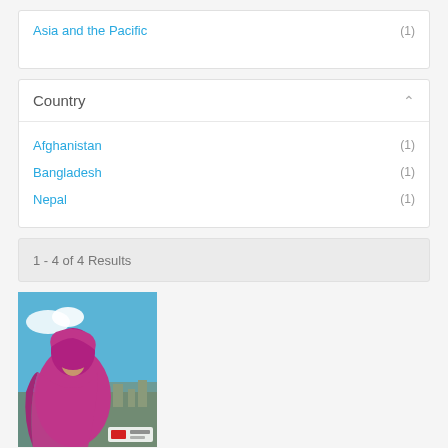Asia and the Pacific (1)
Country
Afghanistan (1)
Bangladesh (1)
Nepal (1)
1 - 4 of 4 Results
[Figure (photo): Book cover showing a woman wrapped in a pink/magenta headscarf and shawl against a blue sky background with a cityscape. Text on the cover is partially visible. UNICEF-related publication.]
I'm better than before but inside my heart lies so much pain